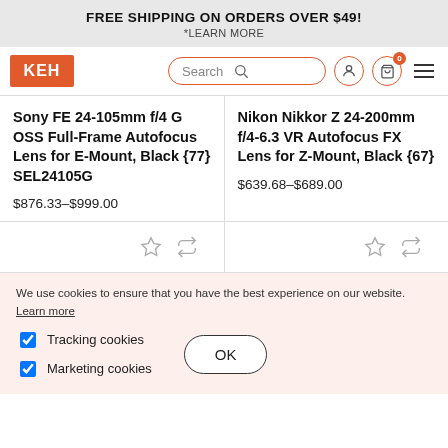FREE SHIPPING ON ORDERS OVER $49!
*LEARN MORE
[Figure (logo): KEH camera store logo and navigation bar with search, user, cart icons]
Sony FE 24-105mm f/4 G OSS Full-Frame Autofocus Lens for E-Mount, Black {77} SEL24105G
$876.33-$999.00
Nikon Nikkor Z 24-200mm f/4-6.3 VR Autofocus FX Lens for Z-Mount, Black {67}
$639.68-$689.00
We use cookies to ensure that you have the best experience on our website. Learn more
Tracking cookies
Marketing cookies